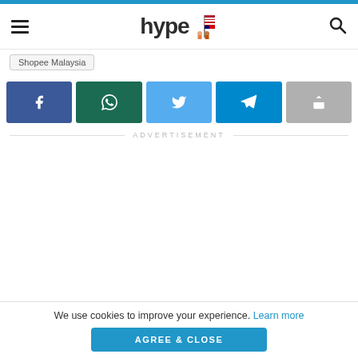hype (logo with Malaysian flag icon)
Shopee Malaysia
[Figure (other): Row of five social share buttons: Facebook (dark blue), WhatsApp (dark green), Twitter (light blue), Telegram (teal blue), Share/other (grey)]
ADVERTISEMENT
We use cookies to improve your experience. Learn more
AGREE & CLOSE